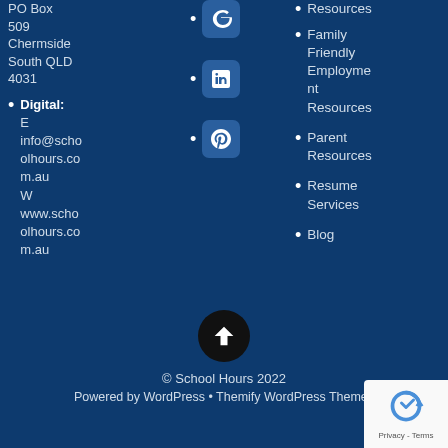PO Box 509 Chermside South QLD 4031
Digital: E info@schoolhours.com.au W www.schoolhours.com.au
[Figure (other): Social media icons: Google+, LinkedIn, Pinterest]
Resources
Family Friendly Employment Resources
Parent Resources
Resume Services
Blog
[Figure (other): Back to top arrow button (circular black button with upward arrow)]
© School Hours 2022
Powered by WordPress • Themify WordPress Themes